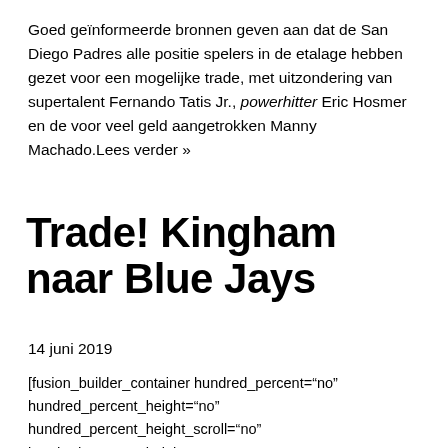Goed geïnformeerde bronnen geven aan dat de San Diego Padres alle positie spelers in de etalage hebben gezet voor een mogelijke trade, met uitzondering van supertalent Fernando Tatis Jr., powerhitter Eric Hosmer en de voor veel geld aangetrokken Manny Machado.Lees verder »
Trade! Kingham naar Blue Jays
14 juni 2019
[fusion_builder_container hundred_percent="no" hundred_percent_height="no" hundred_percent_height_scroll="no" hundred_percent_height_center_content="yes"